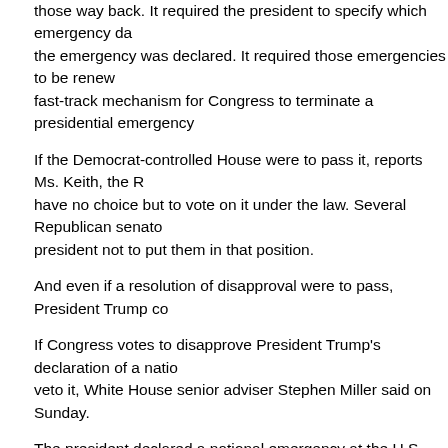those way back. It required the president to specify which emergency laws the emergency was declared. It required those emergencies to be renewed fast-track mechanism for Congress to terminate a presidential emergency.
If the Democrat-controlled House were to pass it, reports Ms. Keith, the R have no choice but to vote on it under the law. Several Republican senators president not to put them in that position.
And even if a resolution of disapproval were to pass, President Trump co
If Congress votes to disapprove President Trump's declaration of a nation veto it, White House senior adviser Stephen Miller said on Sunday.
The president declared a national emergency at the U.S.-Mexico border d funding for a barrier on the southern border — more than four times what Democrats have called Trump's declaration "unlawful," and are considering the declaration. Miller's comments during a Fox News interview made it c down.
"If they pass a resolution of disapproval, will the president veto that, which presidency?" Fox News host Chris Wallace asked.
"Well, obviously, the president is going to protect his national emergency
"So, yes, he would veto?" Wallace pressed.